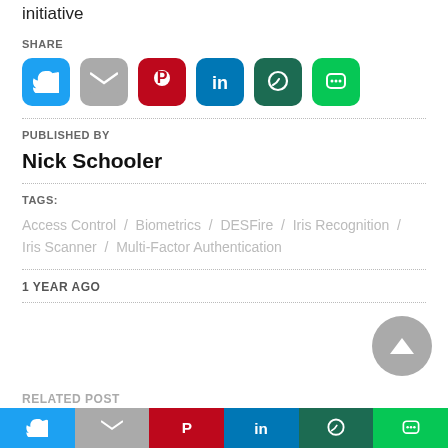initiative
SHARE
[Figure (infographic): Social share buttons: Twitter, Gmail, Pinterest, LinkedIn, WhatsApp, LINE]
PUBLISHED BY
Nick Schooler
TAGS:
Access Control / Biometrics / DESFire / Iris Recognition / Iris Scanner / Multi-Factor Authentication
1 YEAR AGO
RELATED POST
[Figure (infographic): Bottom share bar: Twitter, Gmail, Pinterest, LinkedIn, WhatsApp, LINE]